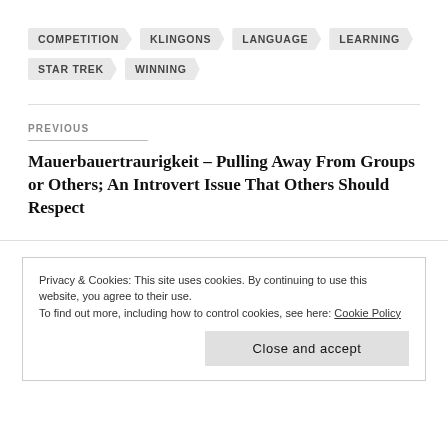COMPETITION
KLINGONS
LANGUAGE
LEARNING
STAR TREK
WINNING
PREVIOUS
Mauerbauertraurigkeit – Pulling Away From Groups or Others; An Introvert Issue That Others Should Respect
Privacy & Cookies: This site uses cookies. By continuing to use this website, you agree to their use.
To find out more, including how to control cookies, see here: Cookie Policy
Close and accept